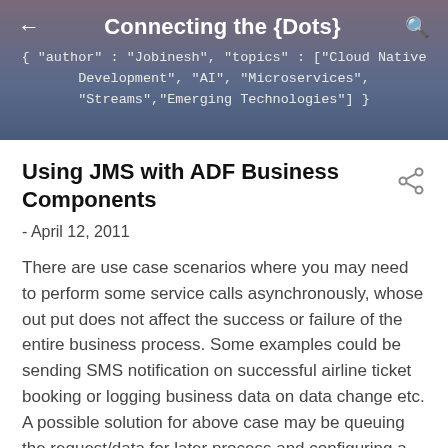Connecting the {Dots}
{ "author" : "Jobinesh", "topics" : ["Cloud Native Development", "AI", "Microservices", "Streams","Emerging Technologies"] }
Using JMS with ADF Business Components
- April 12, 2011
There are use case scenarios where you may need to perform some service calls asynchronously, whose out put does not affect the success or failure of the entire business process. Some examples could be sending SMS notification on successful airline ticket booking or logging business data on data change etc. A possible solution for above case may be queuing the request/data for later process and configuring a listener on this Queue to process them asynchronously. In